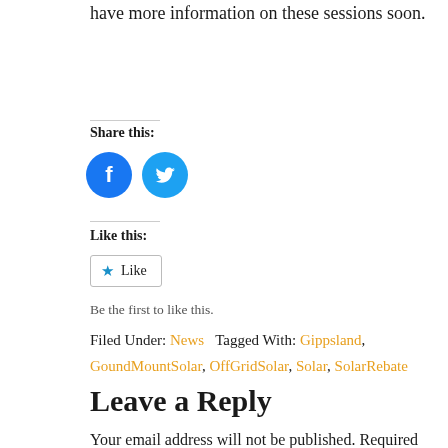have more information on these sessions soon.
Share this:
[Figure (other): Facebook and Twitter social share icon buttons]
Like this:
Like
Be the first to like this.
Filed Under: News   Tagged With: Gippsland, GoundMountSolar, OffGridSolar, Solar, SolarRebate
Leave a Reply
Your email address will not be published. Required